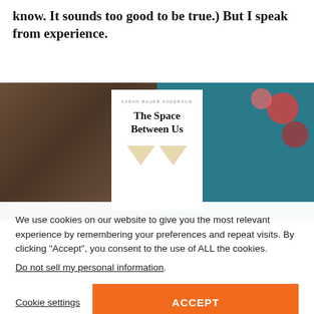know. It sounds too good to be true.) But I speak from experience.
[Figure (photo): A photograph of a book titled 'The Space Between Us' by Sarah Bauer Anderson, held open and displayed against a dark brown wooden surface and a teal floral fabric background.]
We use cookies on our website to give you the most relevant experience by remembering your preferences and repeat visits. By clicking “Accept”, you consent to the use of ALL the cookies.
Do not sell my personal information.
Cookie settings
ACCEPT